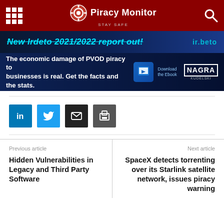Piracy Monitor — STAY SAFE
[Figure (screenshot): Banner ad: New Irdeto 2021/2022 report out! with irdeto logo]
[Figure (screenshot): Nagra ad: The economic damage of PVOD piracy to businesses is real. Get the facts and the stats. Download the Ebook — NAGRA KUDELSKI]
[Figure (infographic): Social share buttons: LinkedIn (blue), Twitter (light blue), Email (dark), Print (grey)]
Previous article
Hidden Vulnerabilities in Legacy and Third Party Software
Next article
SpaceX detects torrenting over its Starlink satellite network, issues piracy warning